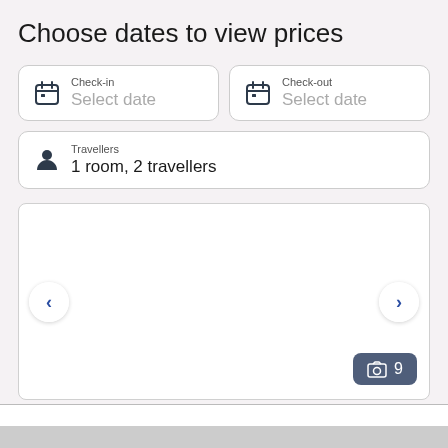Choose dates to view prices
Check-in
Select date
Check-out
Select date
Travellers
1 room, 2 travellers
[Figure (screenshot): Hotel photo carousel area with broken image placeholder, left/right navigation arrows, and a photo count badge showing 9 photos]
9